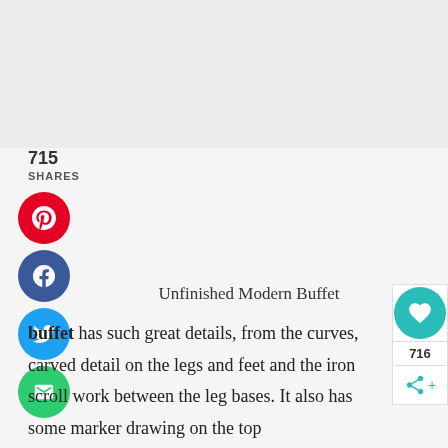[Figure (photo): Gray image placeholder area at top of page]
715
SHARES
[Figure (infographic): Social share buttons: Pinterest (red circle), Facebook (dark blue circle), Twitter (light blue circle), Email (green circle)]
[Figure (infographic): Right side widget: teal heart button, like count 716, share icon]
Unfinished Modern Buffet
This buffet has such great details, from the curves, carved detail on the legs and feet and the iron scroll work between the leg bases. It also has some marker drawing on the top